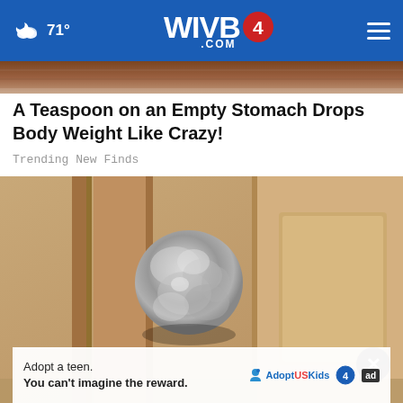71° WIVB4.COM
[Figure (photo): Partial view of a wooden surface or door frame at the top of the page, serving as background behind the navigation bar area.]
A Teaspoon on an Empty Stomach Drops Body Weight Like Crazy!
Trending New Finds
[Figure (photo): A door knob wrapped in aluminum foil, photographed up close against a wooden interior door with vertical panels.]
Adopt a teen. You can't imagine the reward.